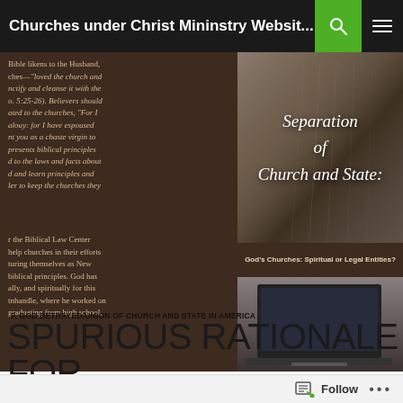Churches under Christ Mininstry Websit...
Bible likens to the Husband, ches—"loved the church and nctify and cleanse it with the o. 5:25-26). Believers should ated to the churches, "For I alouy: for I have espoused nt you as a chaste virgin to presents biblical principles d to the laws and facts about d and learn principles and ler to keep the churches they
[Figure (photo): Close-up photo of an open Bible with text overlay reading 'Separation of Church and State:']
God's Churches: Spiritual or Legal Entities?
[Figure (photo): Photo of a laptop computer screen, partially visible]
r the Biblical Law Center help churches in their efforts turing themselves as New biblical principles. God has ally, and spiritually for this tnhandle, where he worked on graduating from high school,
F. GOD BETRAYED/UNION OF CHURCH AND STATE IN AMERICA
SPURIOUS RATIONALE FOR CHURCH INCORPORATION:
Follow